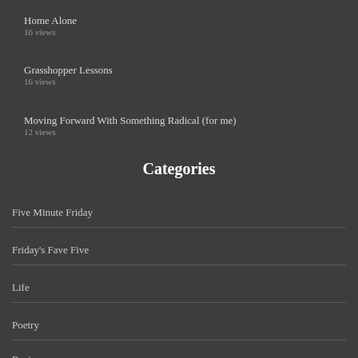Home Alone
16 views
Grasshopper Lessons
16 views
Moving Forward With Something Radical (for me)
12 views
Categories
Five Minute Friday
Friday's Fave Five
Life
Poetry
Recipes